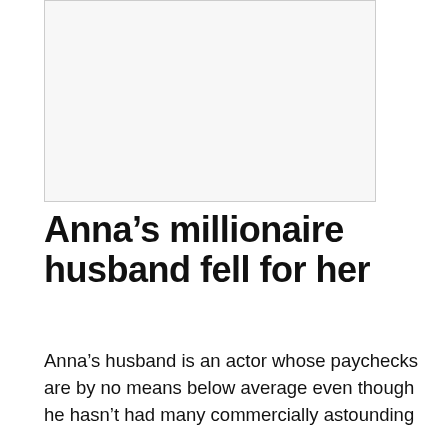[Figure (photo): Blank/placeholder image area with light gray background and thin border]
Anna’s millionaire husband fell for her
Anna’s husband is an actor whose paychecks are by no means below average even though he hasn’t had many commercially astounding